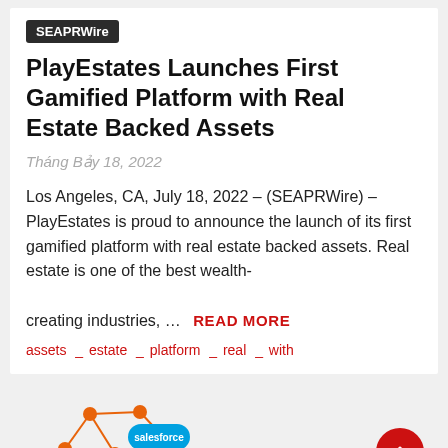SEAPRWire
PlayEstates Launches First Gamified Platform with Real Estate Backed Assets
Tháng Bảy 18, 2022
Los Angeles, CA, July 18, 2022 – (SEAPRWire) – PlayEstates is proud to announce the launch of its first gamified platform with real estate backed assets. Real estate is one of the best wealth-creating industries, … READ MORE
assets _ estate _ platform _ real _ with
[Figure (logo): TrialWire logo with Salesforce badge — orange network/graph icon above text TRIALWIRE with trademark symbol]